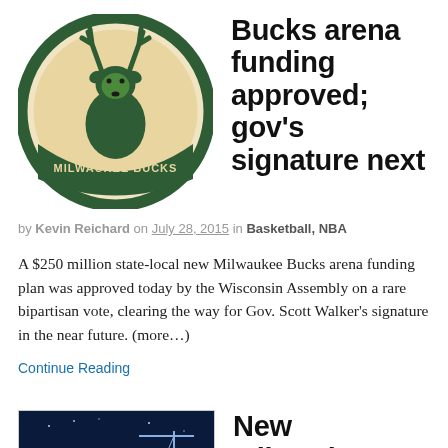[Figure (logo): Milwaukee Bucks logo - circular logo with deer head and team name]
Bucks arena funding approved; gov’s signature next
by Kevin Reichard on July 28, 2015 in Basketball, NBA
A $250 million state-local new Milwaukee Bucks arena funding plan was approved today by the Wisconsin Assembly on a rare bipartisan vote, clearing the way for Gov. Scott Walker’s signature in the near future. (more…)
Continue Reading
[Figure (photo): Aerial rendering of new Milwaukee Bucks arena construction site]
New Milwaukee Bucks arena: A hard sell
by Kevin Reichard on June 9, 2015 in Basketball, NBA